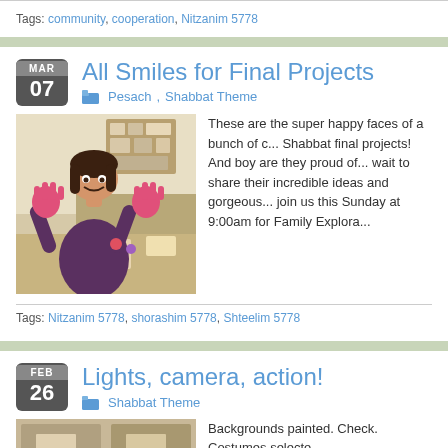Tags: community, cooperation, Nitzanim 5778
All Smiles for Final Projects
Pesach, Shabbat Theme
[Figure (photo): Young girl showing paint-covered hands to camera, smiling, standing near a table with art supplies]
These are the super happy faces of a bunch of children completing their Shabbat final projects! And boy are they proud of their work! We can't wait to share their incredible ideas and gorgeous work with you. Please join us this Sunday at 9:00am for Family Explora
Tags: Nitzanim 5778, shorashim 5778, Shteelim 5778
Lights, camera, action!
Shabbat Theme
Backgrounds painted. Check. Costumes selecte